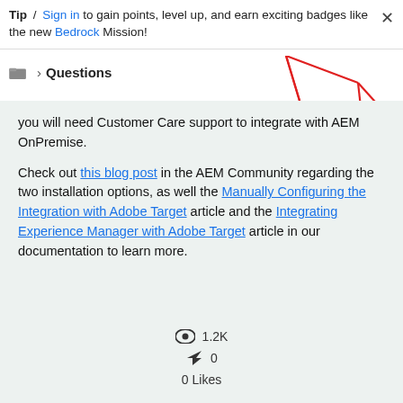Tip / Sign in to gain points, level up, and earn exciting badges like the new Bedrock Mission!
🗂 > Questions
[Figure (illustration): Decorative geometric graphic with red lines forming a polygon shape and an orange circular shape, partially visible in upper right corner]
you will need Customer Care support to integrate with AEM OnPremise.

Check out this blog post in the AEM Community regarding the two installation options, as well the Manually Configuring the Integration with Adobe Target article and the Integrating Experience Manager with Adobe Target article in our documentation to learn more.
👁 1.2K
↩ 0
0 Likes